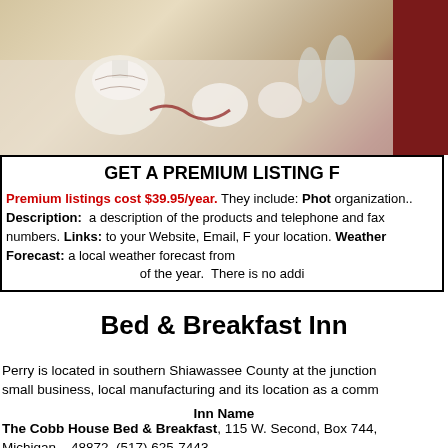[Figure (photo): Photograph of table set with fine china, teacups, and glassware. Dark red block on the right side.]
GET A PREMIUM LISTING F
Premium listings cost $39.95/year. They include: Photo of your organization.. Description: a description of the products and telephone and fax numbers. Links: to your Website, Email, F your location. Weather Forecast: a local weather forecast from of the year. There is no addi
Bed & Breakfast Inn
Perry is located in southern Shiawassee County at the junction small business, local manufacturing and its location as a comm
Inn Name
The Cobb House Bed & Breakfast, 115 W. Second, Box 744, Michigan   48872, (517) 625-7443